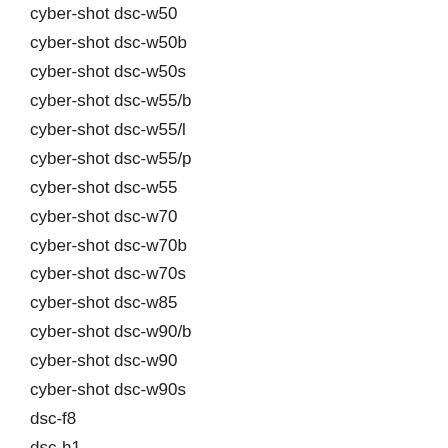cyber-shot dsc-w50
cyber-shot dsc-w50b
cyber-shot dsc-w50s
cyber-shot dsc-w55/b
cyber-shot dsc-w55/l
cyber-shot dsc-w55/p
cyber-shot dsc-w55
cyber-shot dsc-w70
cyber-shot dsc-w70b
cyber-shot dsc-w70s
cyber-shot dsc-w85
cyber-shot dsc-w90/b
cyber-shot dsc-w90
cyber-shot dsc-w90s
dsc-f8
dsc-h1
dsc-h2
dsc-h5
dsc-l1/b
dsc-l1/l
dsc-l1/lj
dsc-l1/r
dsc-l1/s